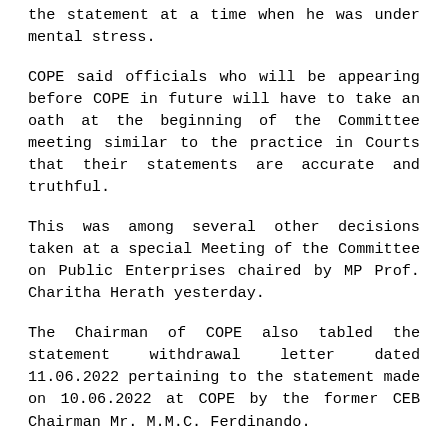the statement at a time when he was under mental stress.
COPE said officials who will be appearing before COPE in future will have to take an oath at the beginning of the Committee meeting similar to the practice in Courts that their statements are accurate and truthful.
This was among several other decisions taken at a special Meeting of the Committee on Public Enterprises chaired by MP Prof. Charitha Herath yesterday.
The Chairman of COPE also tabled the statement withdrawal letter dated 11.06.2022 pertaining to the statement made on 10.06.2022 at COPE by the former CEB Chairman Mr. M.M.C. Ferdinando.